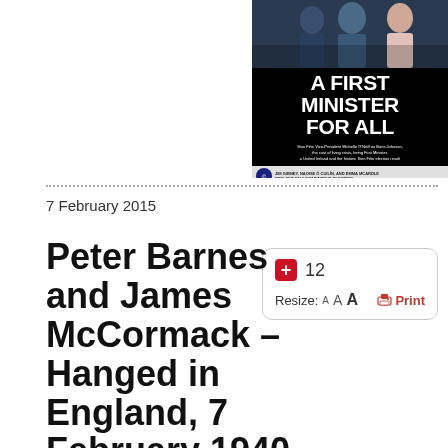[Figure (photo): Magazine cover showing 'A FIRST MINISTER FOR ALL' with Sinn Féin Vice-President Michelle O'Neill on Boris Johnson, the cost of living crisis, being First Minister, a United Ireland and the historic Sinn Féin election result. Reflections by Jim Gibney, Naoise Ó Cuilín, and Emma McArdle.]
7 February 2015
Peter Barnes and James McCormack – Hanged in England, 7 February 1940